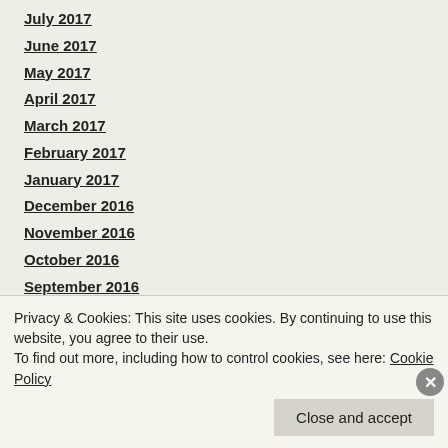July 2017
June 2017
May 2017
April 2017
March 2017
February 2017
January 2017
December 2016
November 2016
October 2016
September 2016
August 2016
July 2016
June 2016
May 2016
Privacy & Cookies: This site uses cookies. By continuing to use this website, you agree to their use. To find out more, including how to control cookies, see here: Cookie Policy
Close and accept